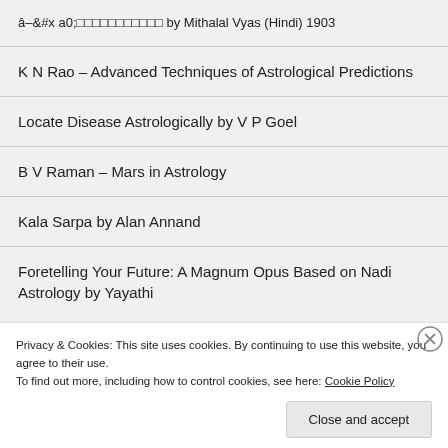🔲🔲🔲🔲🔲🔲🔲🔲🔲🔲🔲 by Mithalal Vyas (Hindi) 1903
K N Rao – Advanced Techniques of Astrological Predictions
Locate Disease Astrologically by V P Goel
B V Raman – Mars in Astrology
Kala Sarpa by Alan Annand
Foretelling Your Future: A Magnum Opus Based on Nadi Astrology by Yayathi
Advertisements
Privacy & Cookies: This site uses cookies. By continuing to use this website, you agree to their use.
To find out more, including how to control cookies, see here: Cookie Policy
Close and accept